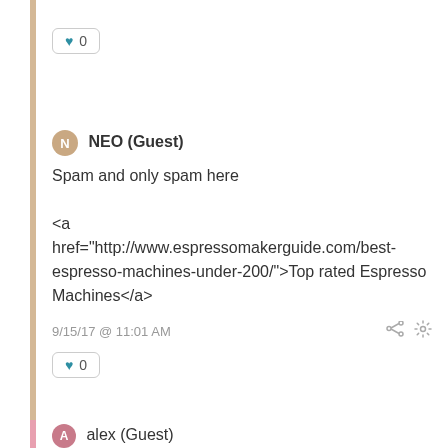♥ 0
NEO (Guest)
Spam and only spam here

<a href="http://www.espressomakerguide.com/best-espresso-machines-under-200/">Top rated Espresso Machines</a>
9/15/17 @ 11:01 AM
♥ 0
alex (Guest)